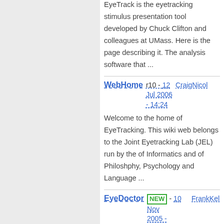EyeTrack is the eyetracking stimulus presentation tool developed by Chuck Clifton and colleagues at UMass. Here is the page describing it. The analysis software that ...
WebHome     r10 - 12 Jul 2006 - 14:24     CraigNicol
Welcome to the home of EyeTracking. This wiki web belongs to the Joint Eyetracking Lab (JEL) run by the of Informatics and of Philoshphy, Psychology and Language ...
EyeDoctor     NEW - 10 Nov 2005 - 11:36     FrankKeller
EyeDoctor is the eyetracking data post processing tool developed by Chuck Clifton and colleagues at